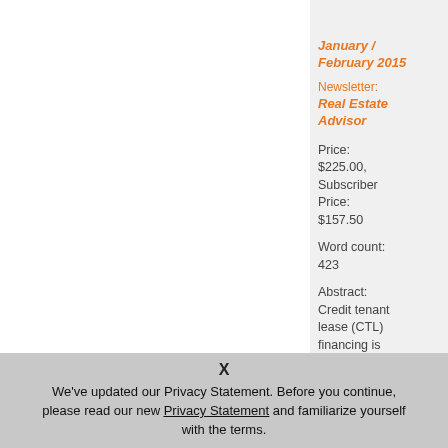January / February 2015
Newsletter: Real Estate Advisor
Price: $225.00, Subscriber Price: $157.50
Word count: 423
Abstract: Credit tenant lease (CTL) financing is
X
We've updated our Privacy Statement. Before you continue, please read our new Privacy Statement and familiarize yourself with the terms.